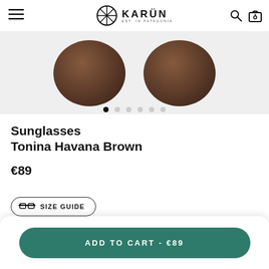[Figure (screenshot): Karün sunglasses product page screenshot showing the top navigation with hamburger menu, Karün logo (circle with X pattern), search and bag icons, a product image of Tonina Havana Brown sunglasses (dark brown lenses visible at top), image carousel dots, product title, price, size guide button, and add to cart button.]
Sunglasses
Tonina Havana Brown
€89
SIZE GUIDE
ADD TO CART - €89